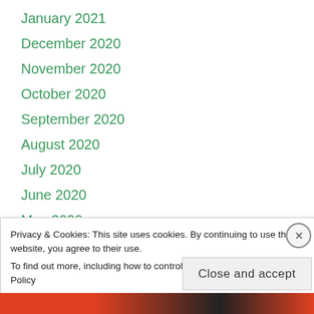January 2021
December 2020
November 2020
October 2020
September 2020
August 2020
July 2020
June 2020
May 2020
April 2020
February 2020
January 2020
Privacy & Cookies: This site uses cookies. By continuing to use this website, you agree to their use.
To find out more, including how to control cookies, see here: Cookie Policy
Close and accept